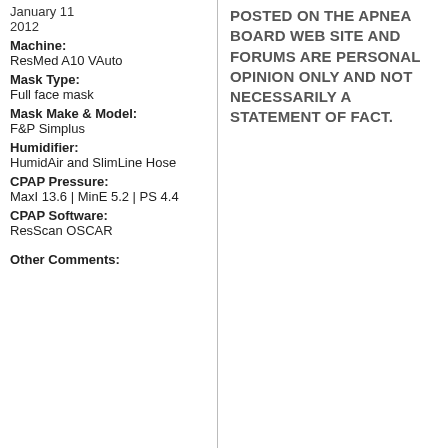January 11 2012
Machine: ResMed A10 VAuto
Mask Type: Full face mask
Mask Make & Model: F&P Simplus
Humidifier: HumidAir and SlimLine Hose
CPAP Pressure: MaxI 13.6 | MinE 5.2 | PS 4.4
CPAP Software: ResScan OSCAR
Other Comments:
POSTED ON THE APNEA BOARD WEB SITE AND FORUMS ARE PERSONAL OPINION ONLY AND NOT NECESSARILY A STATEMENT OF FACT.